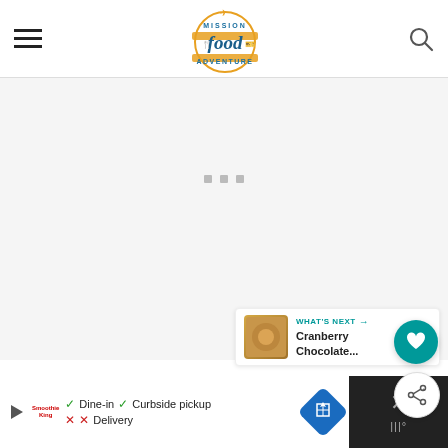Mission Food Adventure — navigation header with hamburger menu, logo, and search icon
[Figure (screenshot): Loading content area with three gray square dots indicating content is loading, on a light gray background]
[Figure (other): Teal circular heart favorite button and white circular share button on right side]
[Figure (other): What's Next panel: thumbnail of food item with label 'WHAT'S NEXT →' and text 'Cranberry Chocolate...']
[Figure (screenshot): Advertisement bar at bottom: Smoothie King ad with play button, dine-in checkmark, curbside pickup checkmark, delivery X mark, map icon, and close button on dark right panel]